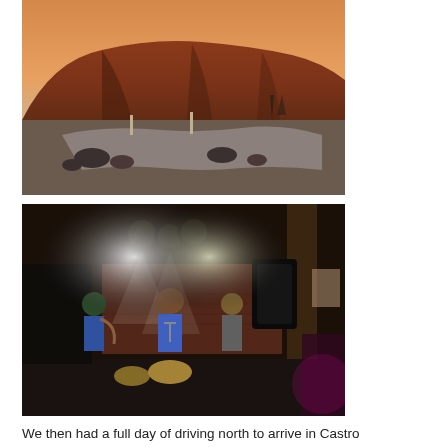[Figure (photo): Outdoor landscape photo at dusk/sunset showing a large reddish-brown rocky hill or mesa in the background, with a dry riverbed or wash in the foreground containing rocks and sparse desert vegetation. The sky shows warm orange and blue tones of sunset.]
[Figure (photo): Indoor nighttime photo of a live music performance in a rustic bar or venue. Several musicians are on a stage with stage lighting (spotlights overhead). The setting has brick walls and wooden beams. Musicians include a guitarist and others with instruments. The atmosphere is dark with colored lights.]
We then had a full day of driving north to arrive in Castro